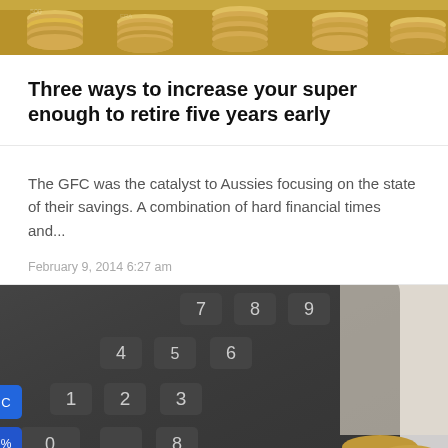[Figure (photo): Close-up of stacked gold coins arranged in a row, partially visible at top of page]
Three ways to increase your super enough to retire five years early
The GFC was the catalyst to Aussies focusing on the state of their savings. A combination of hard financial times and...
February 9, 2014 6:27 am
[Figure (photo): Close-up of a dark calculator keyboard with blue keys visible at bottom left, and gold coins at bottom right]